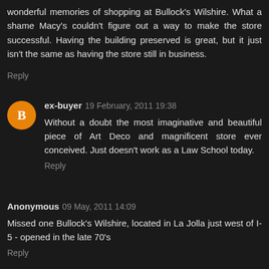wonderful memories of shopping at Bullock's Wilshire. What a shame Macy's couldn't figure out a way to make the store successful. Having the building preserved is great, but it just isn't the same as having the store still in business.
Reply
ex-buyer 19 February, 2011 19:38
Without a doubt the most imaginative and beautiful piece of Art Deco and magnificent store ever conceived. Just doesn't work as a Law School today.
Reply
Anonymous 09 May, 2011 14:09
Missed one Bullock's Wilshire, located in La Jolla just west of I-5 - opened in the late 70's
Reply